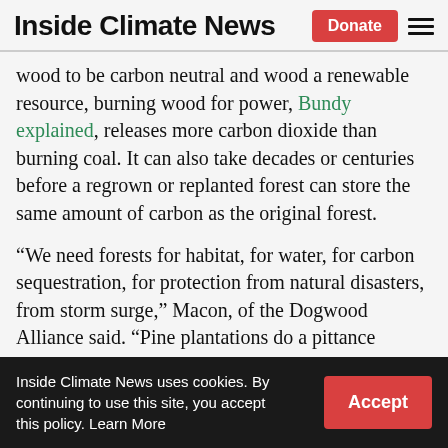Inside Climate News
wood to be carbon neutral and wood a renewable resource, burning wood for power, Bundy explained, releases more carbon dioxide than burning coal. It can also take decades or centuries before a regrown or replanted forest can store the same amount of carbon as the original forest.
“We need forests for habitat, for water, for carbon sequestration, for protection from natural disasters, from storm surge,” Macon, of the Dogwood Alliance said. “Pine plantations do a pittance compared to what a natural forest
Inside Climate News uses cookies. By continuing to use this site, you accept this policy. Learn More